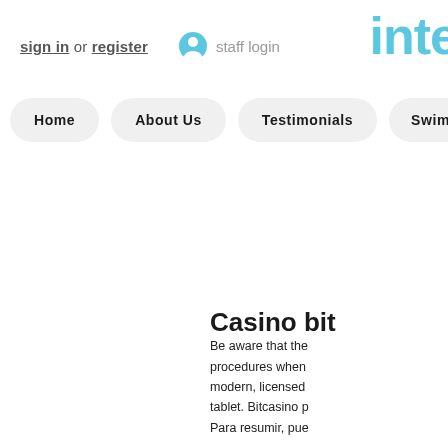sign in or register   staff login   inte
Home   About Us   Testimonials   Swim Leve
Casino bit
Be aware that the procedures when modern, licensed tablet. Bitcasino p Para resumir, pue